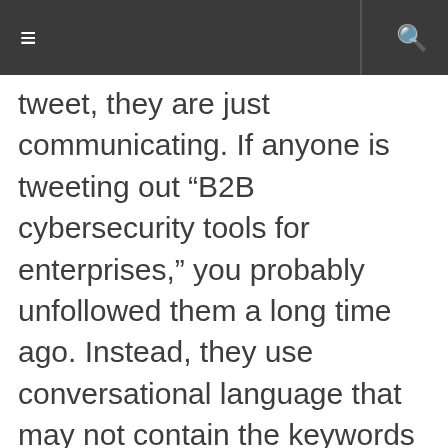≡  🔍
tweet, they are just communicating. If anyone is tweeting out “B2B cybersecurity tools for enterprises,” you probably unfollowed them a long time ago. Instead, they use conversational language that may not contain the keywords you are used to targeting.
Here is how you can identify the keywords your audience is actually using on Twitter, which you can use to better target your engagement and your ads: